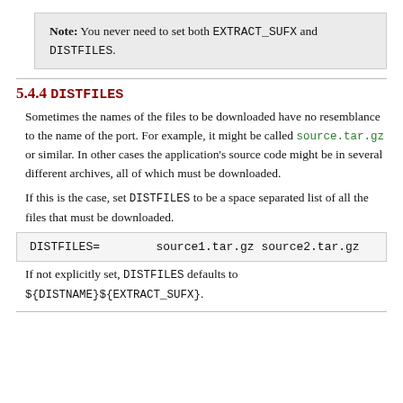Note: You never need to set both EXTRACT_SUFX and DISTFILES.
5.4.4 DISTFILES
Sometimes the names of the files to be downloaded have no resemblance to the name of the port. For example, it might be called source.tar.gz or similar. In other cases the application's source code might be in several different archives, all of which must be downloaded.
If this is the case, set DISTFILES to be a space separated list of all the files that must be downloaded.
DISTFILES=        source1.tar.gz source2.tar.gz
If not explicitly set, DISTFILES defaults to ${DISTNAME}${EXTRACT_SUFX}.